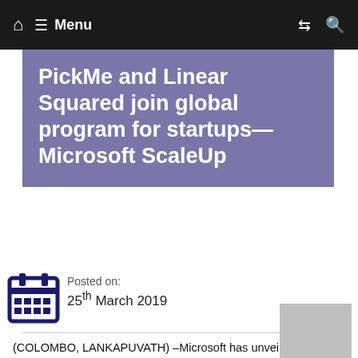Menu
PickMe and Linear Squared join global program for startups—Microsoft ScaleUp
Posted on:
25th March 2019
(COLOMBO, LANKAPUVATH) –Microsoft has unveiled the first startups from Sri Lanka to join the company's ScaleUp program. PickMe, the taxi hailing app developed and maintained by Digital Mobility Solutions Lanka (Pvt) Ltd, and software vendor Linear Squared (Pvt) Ltd will join Microsoft's global initiative with a mission to empower entrepreneurs to build better companies.
Microsoft will support Digital Mobility Solutions Lanka (PickMe) and Linear Squared with global expansion as well as